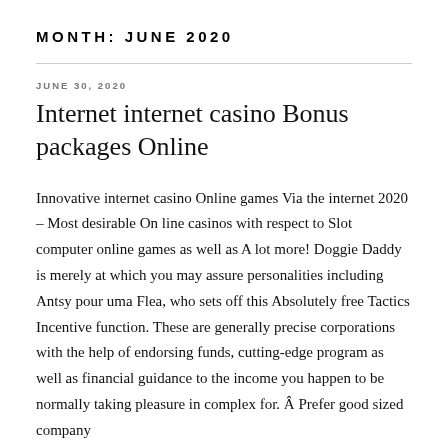MONTH: JUNE 2020
JUNE 30, 2020
Internet internet casino Bonus packages Online
Innovative internet casino Online games Via the internet 2020 – Most desirable On line casinos with respect to Slot computer online games as well as A lot more! Doggie Daddy is merely at which you may assure personalities including Antsy pour uma Flea, who sets off this Absolutely free Tactics Incentive function. These are generally precise corporations with the help of endorsing funds, cutting-edge program as well as financial guidance to the income you happen to be normally taking pleasure in complex for. Â Prefer good sized company